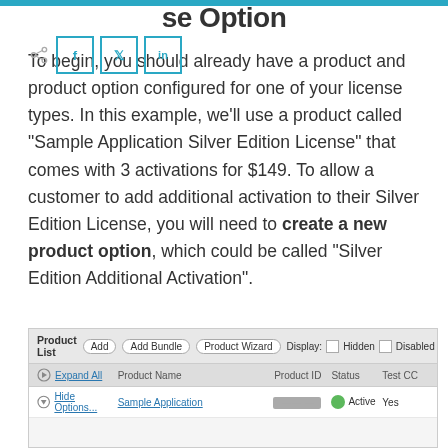se Option
To begin, you should already have a product and product option configured for one of your license types. In this example, we'll use a product called “Sample Application Silver Edition License” that comes with 3 activations for $149. To allow a customer to add additional activation to their Silver Edition License, you will need to create a new product option, which could be called “Silver Edition Additional Activation”.
[Figure (screenshot): Product List interface showing toolbar with Add, Add Bundle, Product Wizard buttons and Display options (Hidden, Disabled), with rows showing Expand All / Product Name / Product ID / Status / Test CC columns, and a Sample Application entry with Active status and Yes for Test CC.]